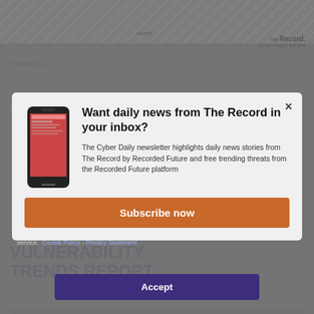[Figure (screenshot): Background page from The Record by Recorded Future showing a chart with month axis and ransomware/malware report content, partially obscured by modal and cookie overlays]
RANSOMWARE TRACKER: THE LATEST FIGURES (JULY 2022)
H1 2022 MALWARE AND VULNERABILITY TRENDS REPORT
Want daily news from The Record in your inbox?
The Cyber Daily newsletter highlights daily news stories from The Record by Recorded Future and free trending threats from the Recorded Future platform
Subscribe now
We use cookies to optimise our website and our service.  Cookie Policy -  Privacy Statement
Accept